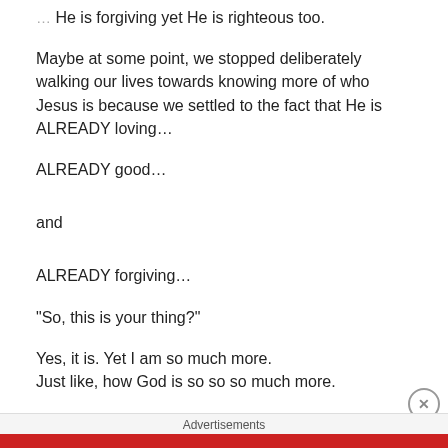He is forgiving yet He is righteous too.
Maybe at some point, we stopped deliberately walking our lives towards knowing more of who Jesus is because we settled to the fact that He is ALREADY loving...
ALREADY good...
and
ALREADY forgiving...
“So, this is your thing?”
Yes, it is. Yet I am so much more.
Just like, how God is so so so much more.
It is an encouragement for me not to stop.
Advertisements